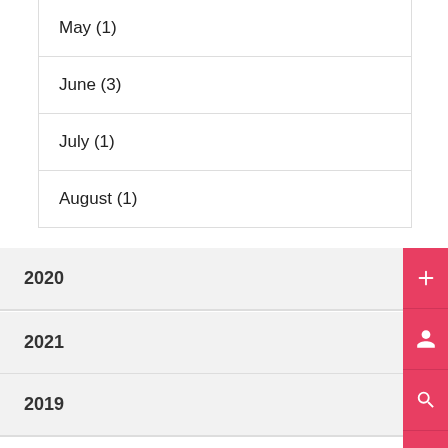May (1)
June (3)
July (1)
August (1)
2020
2021
2019